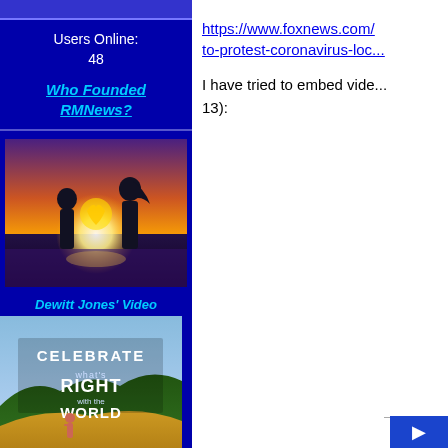Users Online:
48
Who Founded RMNews?
[Figure (photo): Two children silhouetted against a sunset making a heart shape with their hands]
Dewitt Jones' Video
[Figure (photo): Cover image for 'Celebrate What's Right with the World' video - person in field on hillside with text overlay]
"Celebrate What's Right
https://www.foxnews.com/...to-protest-coronavirus-loc...
I have tried to embed vide... 13):